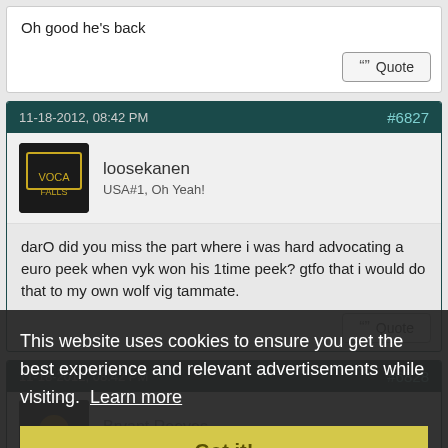Oh good he's back
Quote
11-18-2012, 08:42 PM
#6827
loosekanen
USA#1, Oh Yeah!
darO did you miss the part where i was hard advocating a euro peek when vyk won his 1time peek? gtfo that i would do that to my own wolf vig tammate.
Quote
11-18-2012, 08:42 PM
#6828
Bryant Reeves
Pooh-Bah
This website uses cookies to ensure you get the best experience and relevant advertisements while visiting. Learn more
Got it!
Gad